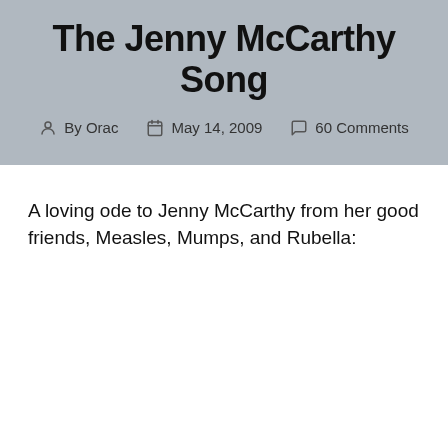The Jenny McCarthy Song
By Orac   May 14, 2009   60 Comments
A loving ode to Jenny McCarthy from her good friends, Measles, Mumps, and Rubella: